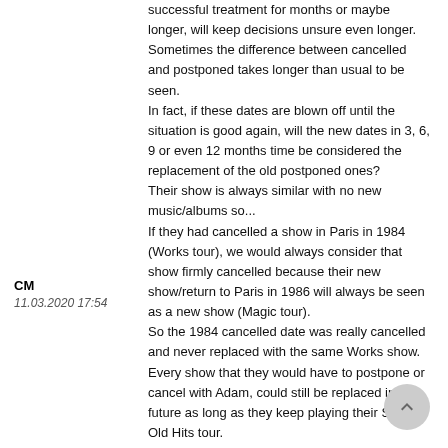successful treatment for months or maybe longer, will keep decisions unsure even longer. Sometimes the difference between cancelled and postponed takes longer than usual to be seen. In fact, if these dates are blown off until the situation is good again, will the new dates in 3, 6, 9 or even 12 months time be considered the replacement of the old postponed ones? Their show is always similar with no new music/albums so... If they had cancelled a show in Paris in 1984 (Works tour), we would always consider that show firmly cancelled because their new show/return to Paris in 1986 will always be seen as a new show (Magic tour). So the 1984 cancelled date was really cancelled and never replaced with the same Works show. Every show that they would have to postpone or cancel with Adam, could still be replaced in the future as long as they keep playing their Same Old Hits tour.
CM
11.03.2020 17:54